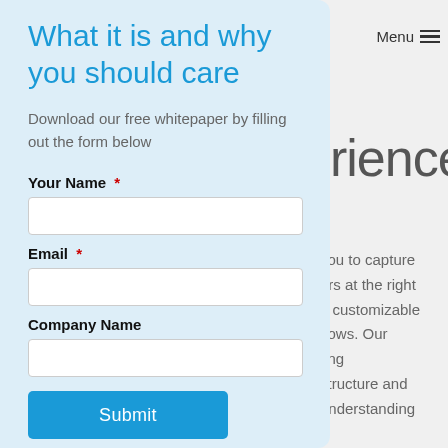What it is and why you should care
Download our free whitepaper by filling out the form below
Your Name *
Email *
Company Name
Submit